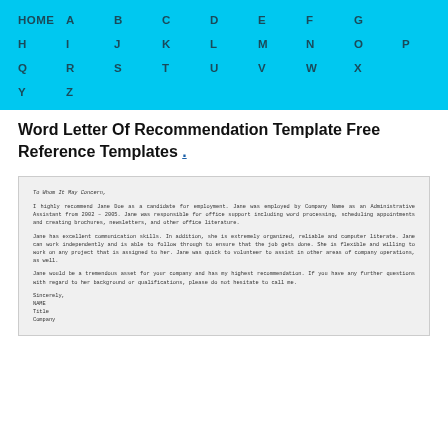HOME A B C D E F G H I J K L M N O P Q R S T U V W X Y Z
Word Letter Of Recommendation Template Free Reference Templates .
[Figure (other): A preview image of a letter of recommendation template document showing sample text including 'To Whom It May Concern', body paragraphs recommending Jane Doe, and closing with NAME, Title, Company.]